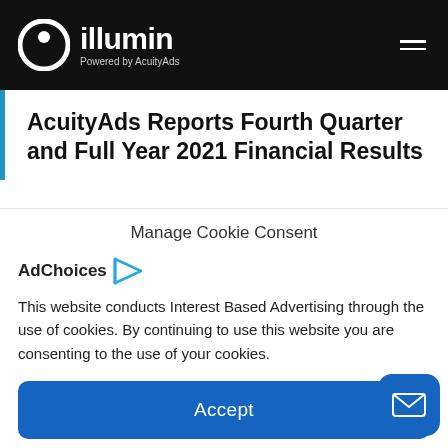illumin — Powered by AcuityAds
AcuityAds Reports Fourth Quarter and Full Year 2021 Financial Results
Manage Cookie Consent
[Figure (logo): AdChoices logo with play-button style triangle icon]
This website conducts Interest Based Advertising through the use of cookies. By continuing to use this website you are consenting to the use of your cookies.
Accept
Cookie Policy   Corporate Privacy Policy